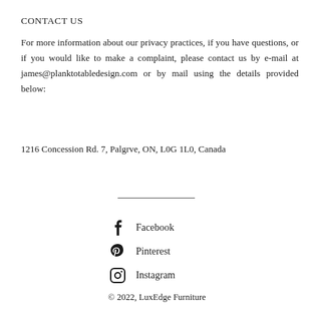CONTACT US
For more information about our privacy practices, if you have questions, or if you would like to make a complaint, please contact us by e-mail at james@planktotabledesign.com or by mail using the details provided below:
1216 Concession Rd. 7, Palgrve, ON, L0G 1L0, Canada
[Figure (other): Horizontal divider line]
Facebook
Pinterest
Instagram
© 2022, LuxEdge Furniture